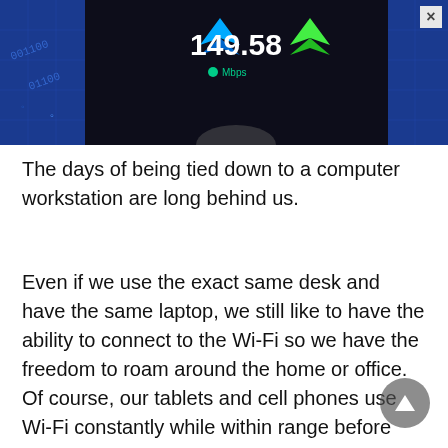[Figure (screenshot): Advertisement banner showing a speed test result of 149.58 Mbps on a dark background with blue grid elements and colorful arrow/chevron icons. A close button (×) is visible in the top right.]
The days of being tied down to a computer workstation are long behind us.
Even if we use the exact same desk and have the same laptop, we still like to have the ability to connect to the Wi-Fi so we have the freedom to roam around the home or office. Of course, our tablets and cell phones use Wi-Fi constantly while within range before switching over to cellular data and yet when you check your internet speed it can